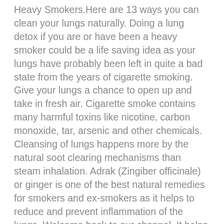Heavy Smokers.Here are 13 ways you can clean your lungs naturally. Doing a lung detox if you are or have been a heavy smoker could be a life saving idea as your lungs have probably been left in quite a bad state from the years of cigarette smoking. Give your lungs a chance to open up and take in fresh air. Cigarette smoke contains many harmful toxins like nicotine, carbon monoxide, tar, arsenic and other chemicals. Cleansing of lungs happens more by the natural soot clearing mechanisms than steam inhalation. Adrak (Zingiber officinale) or ginger is one of the best natural remedies for smokers and ex-smokers as it helps to reduce and prevent inflammation of the lungs. Welcome back to our channel. It helps to detoxify the body overall. 6. Smoke from marijuana combustion has been shown to contain [...] You've kicked the habit of smoking. With the various methods below, you can clean your